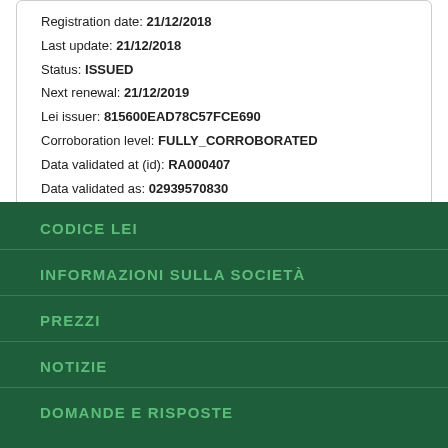Registration date: 21/12/2018
Last update: 21/12/2018
Status: ISSUED
Next renewal: 21/12/2019
Lei issuer: 815600EAD78C57FCE690
Corroboration level: FULLY_CORROBORATED
Data validated at (id): RA000407
Data validated as: 02939570830
CODICE LEI
INFORMAZIONI SULLA SOCIETÀ
PREZZI
NOTIZIE
DOMANDE E RISPOSTE